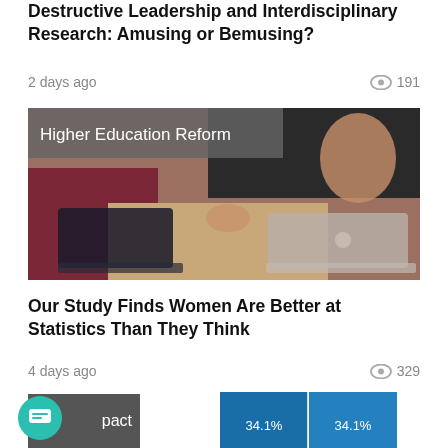Destructive Leadership and Interdisciplinary Research: Amusing or Bemusing?
2 days ago   👁 191
[Figure (photo): Photo of students working on laptops, with tag label 'Higher Education Reform' overlaid in gray banner]
Our Study Finds Women Are Better at Statistics Than They Think
4 days ago   👁 329
[Figure (bar-chart): Partial bar chart visible at bottom showing 34.1% and 34.1% labels on blue bars]
pact